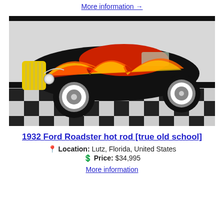More information →
[Figure (photo): 1932 Ford Roadster hot rod with black paint and orange/yellow flame graphics, yellow grille, red interior, whitewall tires, displayed on a black-and-white checkered floor]
1932 Ford Roadster hot rod [true old school]
📍 Location: Lutz, Florida, United States
💲 Price: $34,995
More information